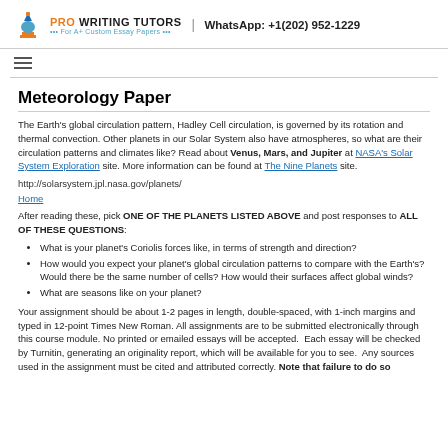PRO WRITING TUTORS | WhatsApp: +1(202) 952-1229
Meteorology Paper
The Earth's global circulation pattern, Hadley Cell circulation, is governed by its rotation and thermal convection. Other planets in our Solar System also have atmospheres, so what are their circulation patterns and climates like? Read about Venus, Mars, and Jupiter at NASA's Solar System Exploration site. More information can be found at The Nine Planets site.
http://solarsystem.jpl.nasa.gov/planets/
Home
After reading these, pick ONE OF THE PLANETS LISTED ABOVE and post responses to ALL OF THESE QUESTIONS:
What is your planet's Coriolis forces like, in terms of strength and direction?
How would you expect your planet's global circulation patterns to compare with the Earth's? Would there be the same number of cells? How would their surfaces affect global winds?
What are seasons like on your planet?
Your assignment should be about 1-2 pages in length, double-spaced, with 1-inch margins and typed in 12-point Times New Roman. All assignments are to be submitted electronically through this course module. No printed or emailed essays will be accepted. Each essay will be checked by Turnitin, generating an originality report, which will be available for you to see. Any sources used in the assignment must be cited and attributed correctly. Note that failure to do so